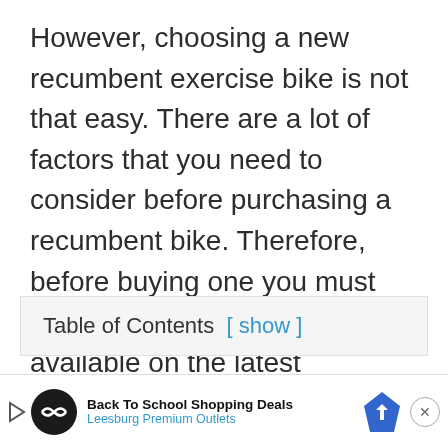However, choosing a new recumbent exercise bike is not that easy. There are a lot of factors that you need to consider before purchasing a recumbent bike. Therefore, before buying one you must know what features are available on the latest recumbent bikes out there.
Table of Contents [ show ]
Buying Guide for Helping You to Choose the Best Recumbent Con...
[Figure (other): Advertisement banner: Back To School Shopping Deals - Leesburg Premium Outlets, with play button, logo icon, navigation arrow, and close button]